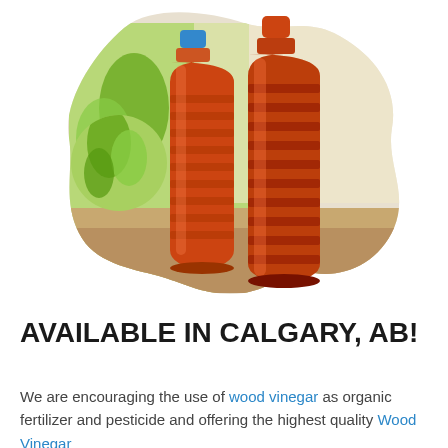[Figure (photo): Two amber/brown plastic bottles of wood vinegar shown in a blob-shaped cutout frame, with green plant background on the left side and sandy/rocky ground at the bottom. One bottle has a blue cap.]
AVAILABLE IN CALGARY, AB!
We are encouraging the use of wood vinegar as organic fertilizer and pesticide and offering the highest quality Wood Vinegar